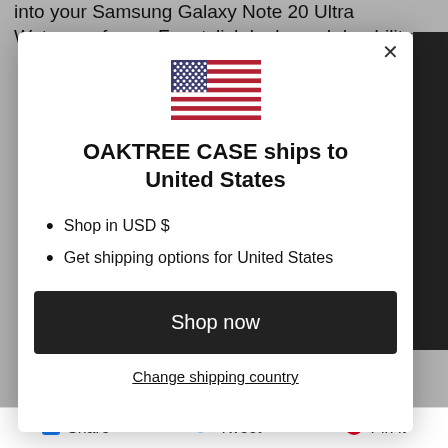into your Samsung Galaxy Note 20 Ultra Waterproof case.For stylish looks and durability.
[Figure (illustration): US flag emoji/icon centered in modal]
OAKTREE CASE ships to United States
Shop in USD $
Get shipping options for United States
Shop now
Change shipping country
Share   Tweet   Pin it